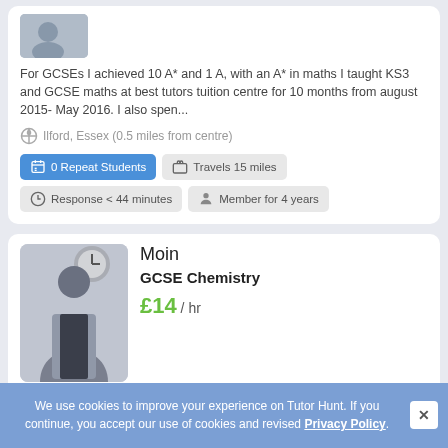[Figure (photo): Profile photo thumbnail (partially visible at top)]
For GCSEs I achieved 10 A* and 1 A, with an A* in maths I taught KS3 and GCSE maths at best tutors tuition centre for 10 months from august 2015- May 2016. I also spen...
Ilford, Essex (0.5 miles from centre)
0 Repeat Students
Travels 15 miles
Response < 44 minutes
Member for 4 years
[Figure (photo): Photo of tutor Moin, young man in grey vest and dark shirt, standing in front of a clock]
Moin
GCSE Chemistry
£14 / hr
This is ideal for year 10 summer students as well as...
We use cookies to improve your experience on Tutor Hunt. If you continue, you accept our use of cookies and revised Privacy Policy.